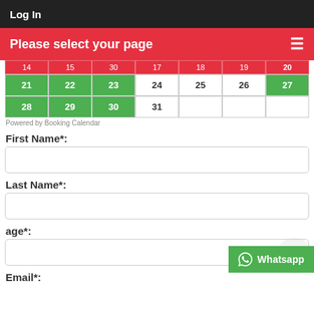Log In
Please select your page
[Figure (other): Booking calendar showing dates 14-31, with dates 21-23, 27-30 highlighted in green and dates 14-20 in red row]
Powered by Booking Calendar
First Name*:
Last Name*:
age*:
Email*: